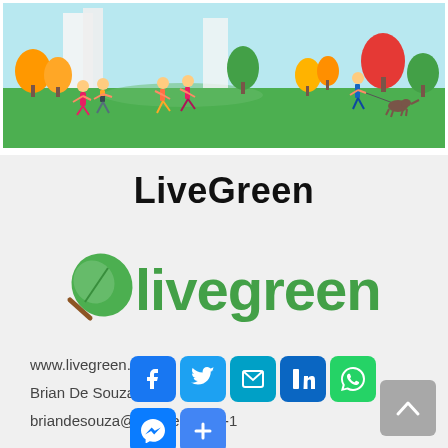[Figure (illustration): A colorful park scene illustration showing people exercising, running, dancing, and walking a dog among green grass and trees with an orange and red autumn color palette.]
LiveGreen
[Figure (logo): LiveGreen logo with a green leaf/lollipop icon on the left and 'livegreen' text in large green letters.]
www.livegreen.ie
Brian De Souza, CEO -
briandesouza@livegreen.ie  +1